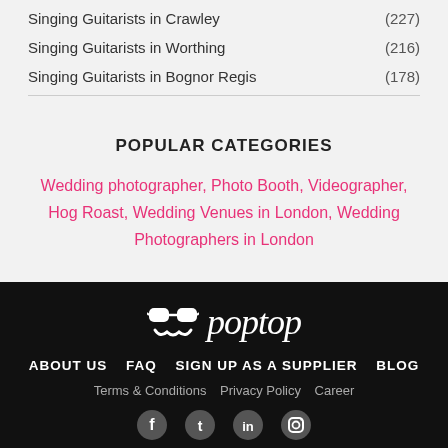Singing Guitarists in Crawley (227)
Singing Guitarists in Worthing (216)
Singing Guitarists in Bognor Regis (178)
POPULAR CATEGORIES
Wedding photographer, Photo Booth, Videographer, Hog Roast, Wedding Venues in London, Wedding Photographers in London
[Figure (logo): Poptop logo with sunglasses icon and italic text]
ABOUT US  FAQ  SIGN UP AS A SUPPLIER  BLOG
Terms & Conditions  Privacy Policy  Career